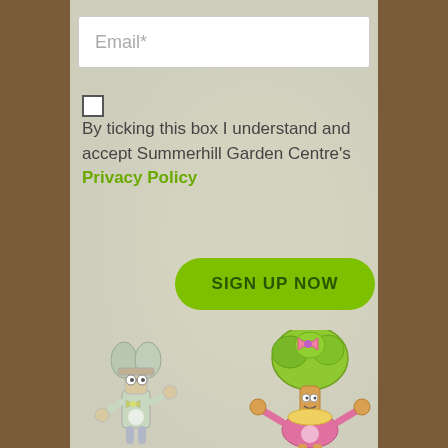Email*
By ticking this box I understand and accept Summerhill Garden Centre's Privacy Policy
SIGN UP NOW
[Figure (illustration): Two cartoon mascot characters: a tree/leaf character with glasses and bow tie on the left, and a broccoli character with pink bow and dress on the right, both smiling and waving]